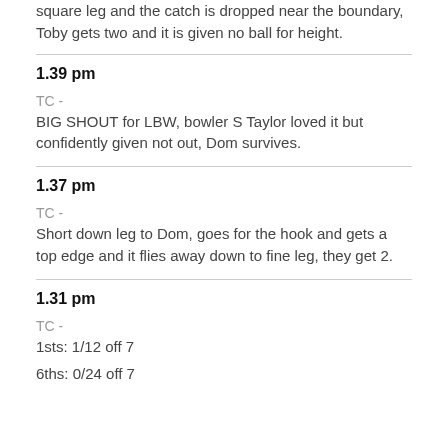square leg and the catch is dropped near the boundary, Toby gets two and it is given no ball for height.
1.39 pm
TC -
BIG SHOUT for LBW, bowler S Taylor loved it but confidently given not out, Dom survives.
1.37 pm
TC -
Short down leg to Dom, goes for the hook and gets a top edge and it flies away down to fine leg, they get 2.
1.31 pm
TC -
1sts: 1/12 off 7
6ths: 0/24 off 7